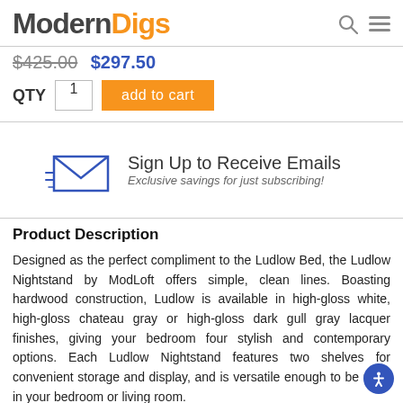Modern Digs
$425.00  $297.50
QTY  1  add to cart
[Figure (illustration): Email signup banner with envelope icon. Text: Sign Up to Receive Emails. Exclusive savings for just subscribing!]
Product Description
Designed as the perfect compliment to the Ludlow Bed, the Ludlow Nightstand by ModLoft offers simple, clean lines. Boasting hardwood construction, Ludlow is available in high-gloss white, high-gloss chateau gray or high-gloss dark gull gray lacquer finishes, giving your bedroom four stylish and contemporary options. Each Ludlow Nightstand features two shelves for convenient storage and display, and is versatile enough to be used in your bedroom or living room.
Product Availability